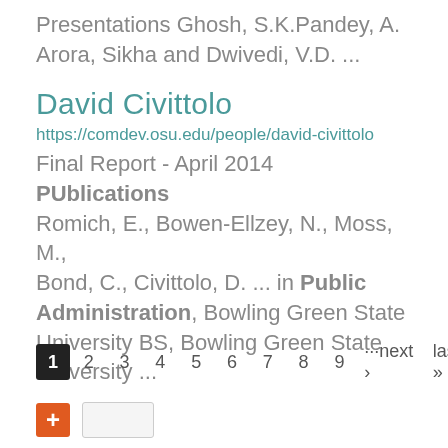Presentations Ghosh, S.K.Pandey, A. Arora, Sikha and Dwivedi, V.D. ...
David Civittolo
https://comdev.osu.edu/people/david-civittolo
Final Report  - April 2014 PUblications Romich, E., Bowen-Ellzey, N., Moss, M., Bond, C., Civittolo, D. ... in Public Administration, Bowling Green State University BS, Bowling Green State University ...
1 2 3 4 5 6 7 8 9 ···next › last »